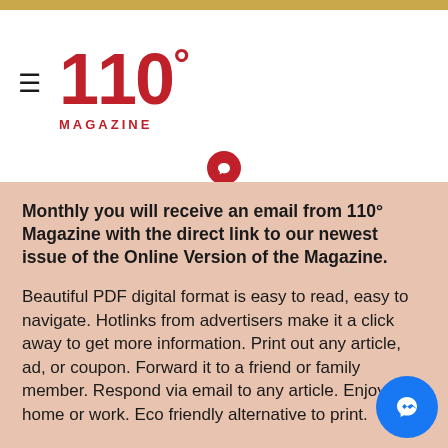110° Magazine
Monthly you will receive an email from 110° Magazine with the direct link to our newest issue of the Online Version of the Magazine.
Beautiful PDF digital format is easy to read, easy to navigate. Hotlinks from advertisers make it a click away to get more information. Print out any article, ad, or coupon. Forward it to a friend or family member. Respond via email to any article. Enjoy it at home or work. Eco friendly alternative to print.